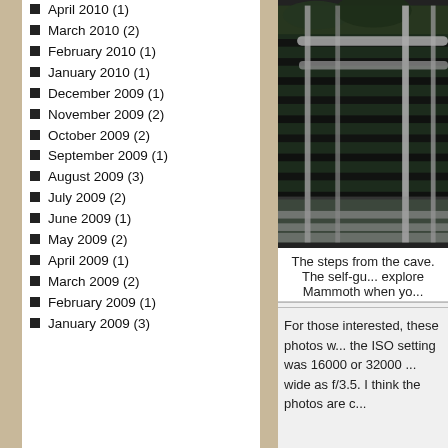April 2010 (1)
March 2010 (2)
February 2010 (1)
January 2010 (1)
December 2009 (1)
November 2009 (2)
October 2009 (2)
September 2009 (1)
August 2009 (3)
July 2009 (2)
June 2009 (1)
May 2009 (2)
April 2009 (1)
March 2009 (2)
February 2009 (1)
January 2009 (3)
[Figure (photo): Photograph of metal stair railings leading up from a cave, taken from below looking upward. Dark industrial metal steps with pipe railings.]
The steps from the cave. The self-gu... explore Mammoth when yo...
For those interested, these photos w... the ISO setting was 16000 or 32000 ... wide as f/3.5. I think the photos are c...